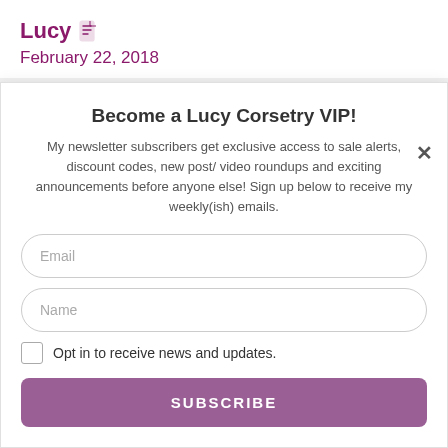Lucy
February 22, 2018
Become a Lucy Corsetry VIP!
My newsletter subscribers get exclusive access to sale alerts, discount codes, new post/ video roundups and exciting announcements before anyone else! Sign up below to receive my weekly(ish) emails.
Email
Name
Opt in to receive news and updates.
SUBSCRIBE